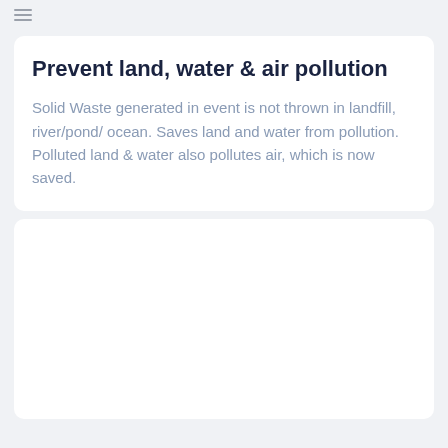≡
Prevent land, water & air pollution
Solid Waste generated in event is not thrown in landfill, river/pond/ ocean. Saves land and water from pollution. Polluted land & water also pollutes air, which is now saved.
[Figure (other): Empty white card placeholder at bottom of page]